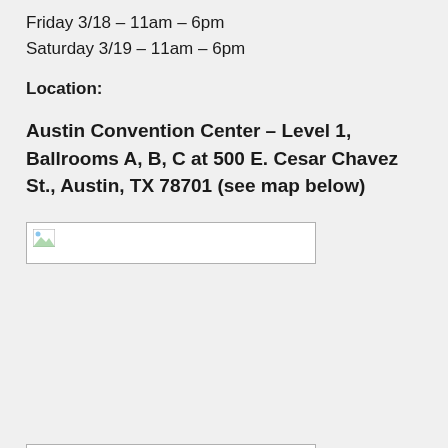Friday 3/18 – 11am – 6pm
Saturday 3/19 – 11am – 6pm
Location:
Austin Convention Center – Level 1, Ballrooms A, B, C at 500 E. Cesar Chavez St., Austin, TX 78701 (see map below)
[Figure (map): Map image placeholder (broken image link), first map]
[Figure (map): Map image placeholder (broken image link), second map]